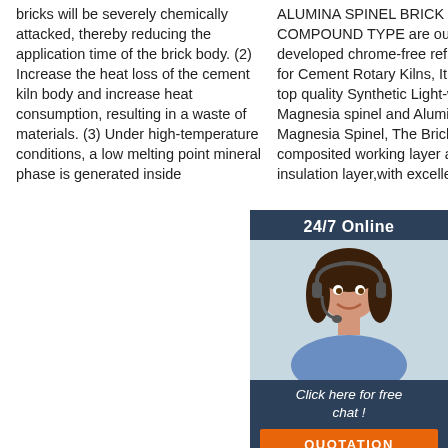bricks will be severely chemically attacked, thereby reducing the application time of the brick body. (2) Increase the heat loss of the cement kiln body and increase heat consumption, resulting in a waste of materials. (3) Under high-temperature conditions, a low melting point mineral phase is generated inside
ALUMINA SPINEL BRICK COMPOUND TYPE are our new developed chrome-free refractories for Cement Rotary Kilns, It is made of top quality Synthetic Light-weighed Magnesia spinel and Alumina-Magnesia Spinel, The Brick was composited working layer and insulation layer,with excellent
brick is an advanced refractory material. Generally, spinel refers to generally of MgAl MgO-A is, the alumina prepared high-pu materia
[Figure (photo): Customer service representative with headset, 24/7 Online chat widget with dark blue background, orange QUOTATION button]
[Figure (other): Orange Get Price button and TOP logo icon]
24/7 Online
Click here for free chat !
QUOTATION
Get Price